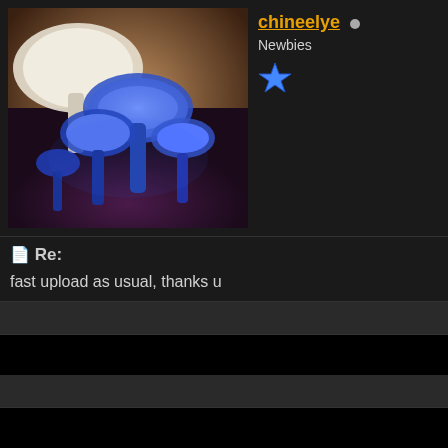[Figure (photo): Avatar image showing glowing blue mushrooms on dark purple/brown background]
chineelye • Newbies ★
📄 Re:
fast upload as usual, thanks u
Similar Threads
Polaroid photomax image maker s